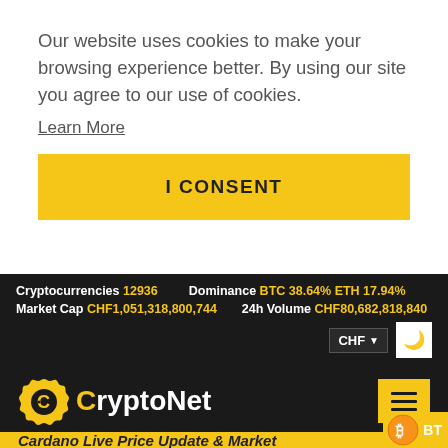Our website uses cookies to make your browsing experience better. By using our site you agree to our use of cookies.
Learn More
I CONSENT
Cryptocurrencies 12936   Dominance BTC 38.64% ETH 17.94%   Market Cap CHF1,051,318,800,744   24h Volume CHF80,682,818,840
[Figure (logo): CryptoNet logo with gear icon and yellow C letter, white text on dark background]
Cardano Live Price Update & Market